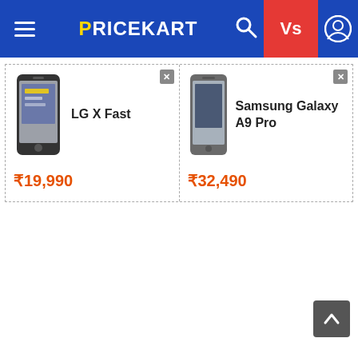PRICEKART – Vs comparison header
[Figure (screenshot): LG X Fast smartphone product image]
LG X Fast
₹19,990
[Figure (screenshot): Samsung Galaxy A9 Pro smartphone product image]
Samsung Galaxy A9 Pro
₹32,490